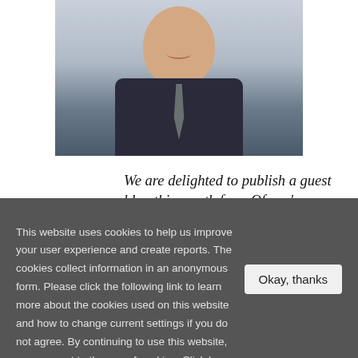[Figure (photo): Portrait photo of Jonathan Brearley (Ofgem), smiling man in dark suit with light blue shirt and tie, cropped from shoulders up, light grey background]
We are delighted to publish a guest blog this month from Ofgem's Jonathan Brearley. Jonathan spoke
This website uses cookies to help us improve your user experience and create reports. The cookies collect information in an anonymous form. Please click the following link to learn more about the cookies used on this website and how to change current settings if you do not agree. By continuing to use this website, you consent to the use of cookies. Click here to find out more.